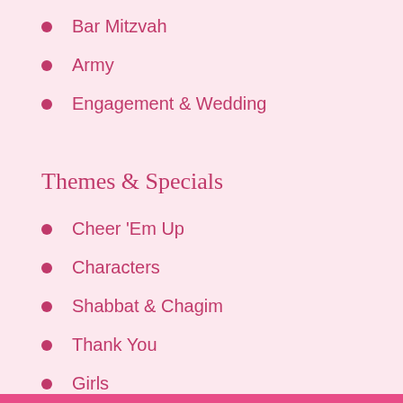Bar Mitzvah
Army
Engagement & Wedding
Themes & Specials
Cheer 'Em Up
Characters
Shabbat & Chagim
Thank You
Girls
Sports
Guys